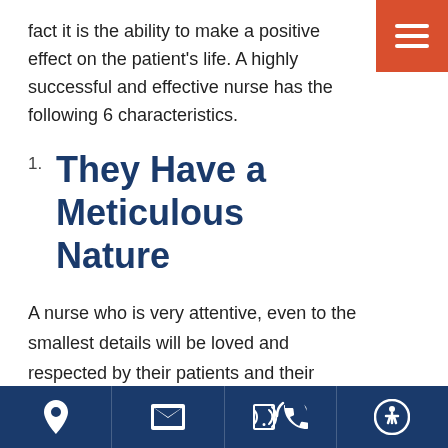fact it is the ability to make a positive effect on the patient's life. A highly successful and effective nurse has the following 6 characteristics.
1. They Have a Meticulous Nature
A nurse who is very attentive, even to the smallest details will be loved and respected by their patients and their colleagues. From an old IV tube to the crammed trash bin in a patient's room, a successful nurse will note down everything and try to solve such issues on time. They don't rely on luck.
[navigation bar with location, email, phone, accessibility icons]